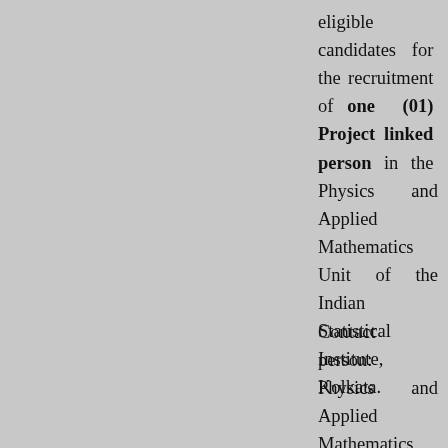eligible candidates for the recruitment of one (01) Project linked person in the Physics and Applied Mathematics Unit of the Indian Statistical Institute, Kolkata.
Contact person: Physics and Applied Mathematics Unit
Download Jobs Form
| Date | Title | Description |
| --- | --- | --- |
| Sep 30 | Recruitment for the position of Project linked person |  |
| 30
Sep |  | Applications are invited for recruitment of one (01) Project linked person purely on temporary basis to work in the Theoretical and |